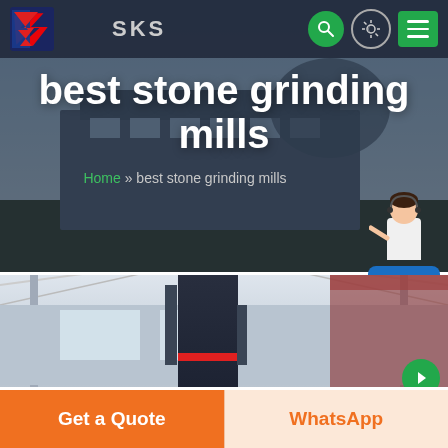[Figure (screenshot): SKS company website header with logo, navigation icons (search, light, menu), hero banner showing industrial building background, page title 'best stone grinding mills', breadcrumb navigation, chat widget with agent and Free chat bubble, product image of stone grinding mill inside warehouse, and bottom CTA bar with Get a Quote and WhatsApp buttons.]
best stone grinding mills
Home » best stone grinding mills
Free chat
Get a Quote
WhatsApp